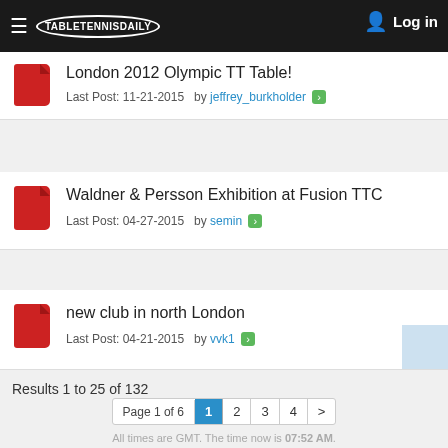TableTennisDaily — Log in
London 2012 Olympic TT Table!
Last Post: 11-21-2015  by jeffrey_burkholder
Waldner & Persson Exhibition at Fusion TTC
Last Post: 04-27-2015  by semin
new club in north London
Last Post: 04-21-2015  by vvk1
Results 1 to 25 of 132
Page 1 of 6  1  2  3  4  >
All times are GMT. The time now is 07:52 AM.